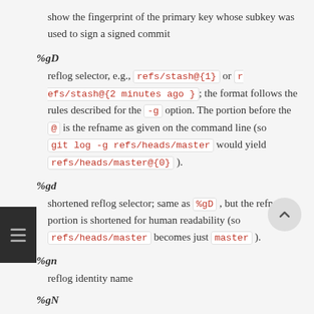show the fingerprint of the primary key whose subkey was used to sign a signed commit
%gD — reflog selector, e.g., refs/stash@{1} or refs/stash@{2 minutes ago }; the format follows the rules described for the -g option. The portion before the @ is the refname as given on the command line (so git log -g refs/heads/master would yield refs/heads/master@{0} ).
%gd — shortened reflog selector; same as %gD , but the refname portion is shortened for human readability (so refs/heads/master becomes just master ).
%gn — reflog identity name
%gN